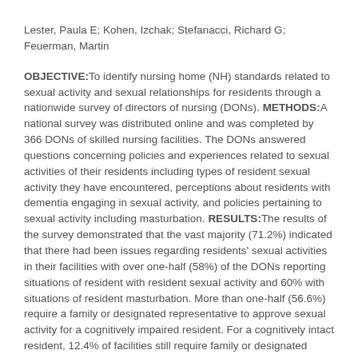Lester, Paula E; Kohen, Izchak; Stefanacci, Richard G; Feuerman, Martin
OBJECTIVE:To identify nursing home (NH) standards related to sexual activity and sexual relationships for residents through a nationwide survey of directors of nursing (DONs). METHODS:A national survey was distributed online and was completed by 366 DONs of skilled nursing facilities. The DONs answered questions concerning policies and experiences related to sexual activities of their residents including types of resident sexual activity they have encountered, perceptions about residents with dementia engaging in sexual activity, and policies pertaining to sexual activity including masturbation. RESULTS:The results of the survey demonstrated that the vast majority (71.2%) indicated that there had been issues regarding residents' sexual activities in their facilities with over one-half (58%) of the DONs reporting situations of resident with resident sexual activity and 60% with situations of resident masturbation. More than one-half (56.6%) require a family or designated representative to approve sexual activity for a cognitively impaired resident. For a cognitively intact resident, 12.4% of facilities still require family or designated representative to approve sexual activity. However, despite the prevalence of sexual activity, the majority of NHs (63.4%) actually do not have policies dealing with resident sexual activity. Of the NHs with